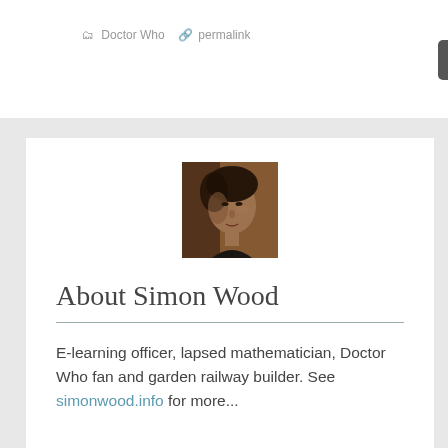Doctor Who  permalink
[Figure (photo): Portrait photo of Simon Wood, a person with dark hair against a warm brown background]
About Simon Wood
E-learning officer, lapsed mathematician, Doctor Who fan and garden railway builder. See simonwood.info for more...